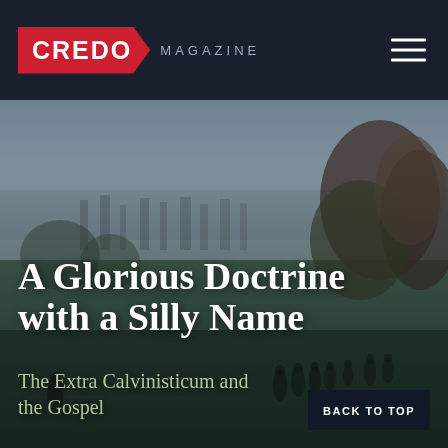CREDO MAGAZINE
[Figure (illustration): A muted impressionist landscape painting showing a park or seaside scene with figures in Victorian dress walking across green fields, misty trees on the right, and a grey sky/water in the background. The scene is dark and atmospheric.]
A Glorious Doctrine with a Silly Name
The Extra Calvinisticum and the Gospel
BACK TO TOP